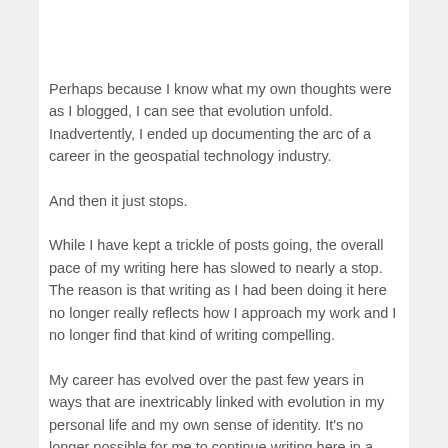Perhaps because I know what my own thoughts were as I blogged, I can see that evolution unfold. Inadvertently, I ended up documenting the arc of a career in the geospatial technology industry.
And then it just stops.
While I have kept a trickle of posts going, the overall pace of my writing here has slowed to nearly a stop. The reason is that writing as I had been doing it here no longer really reflects how I approach my work and I no longer find that kind of writing compelling.
My career has evolved over the past few years in ways that are inextricably linked with evolution in my personal life and my own sense of identity. It's no longer possible for me to continue writing here in a way that doesn't weave in